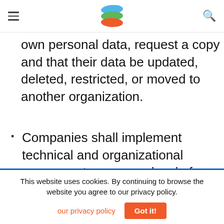[Logo] navigation header with hamburger menu and search icon
own personal data, request a copy and that their data be updated, deleted, restricted, or moved to another organization.
Companies shall implement technical and organizational measures to ensure a level of security appropriate to the risk.
Read the full text of the legal act here
This website uses cookies. By continuing to browse the website you agree to our privacy policy.
our privacy policy   Got it!